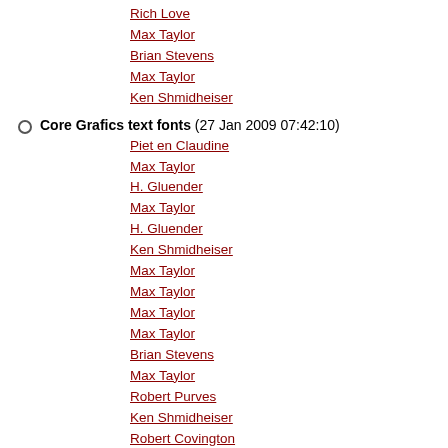Rich Love
Max Taylor
Brian Stevens
Max Taylor
Ken Shmidheiser
Core Grafics text fonts (27 Jan 2009 07:42:10)
Piet en Claudine
Max Taylor
H. Gluender
Max Taylor
H. Gluender
Ken Shmidheiser
Max Taylor
Max Taylor
Max Taylor
Max Taylor
Brian Stevens
Max Taylor
Robert Purves
Ken Shmidheiser
Robert Covington
Brian Stevens
Max Taylor
Max Taylor
Ken Shmidheiser
Joe Lewis Wilkins
Pete Beaumont